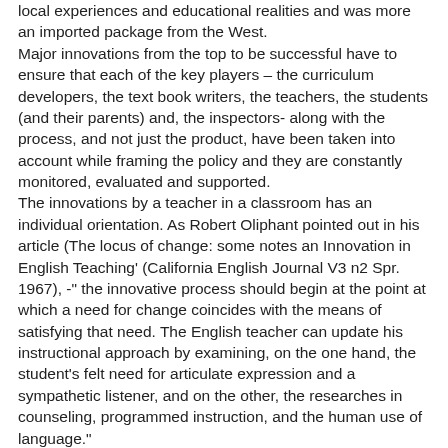local experiences and educational realities and was more an imported package from the West. Major innovations from the top to be successful have to ensure that each of the key players – the curriculum developers, the text book writers, the teachers, the students (and their parents) and, the inspectors- along with the process, and not just the product, have been taken into account while framing the policy and they are constantly monitored, evaluated and supported. The innovations by a teacher in a classroom has an individual orientation. As Robert Oliphant pointed out in his article (The locus of change: some notes an Innovation in English Teaching' (California English Journal V3 n2 Spr. 1967), -" the innovative process should begin at the point at which a need for change coincides with the means of satisfying that need. The English teacher can update his instructional approach by examining, on the one hand, the student's felt need for articulate expression and a sympathetic listener, and on the other, the researches in counseling, programmed instruction, and the human use of language." Generic teaching is ineffective in a class. The teacher has to